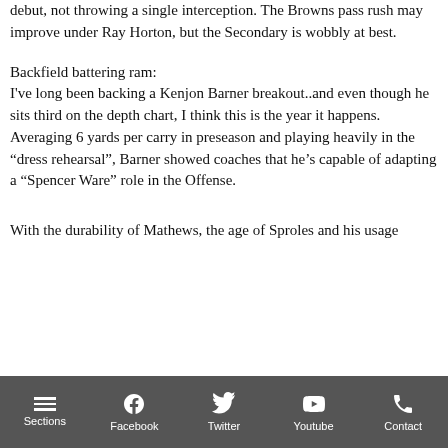debut, not throwing a single interception. The Browns pass rush may improve under Ray Horton, but the Secondary is wobbly at best.
Backfield battering ram:
I've long been backing a Kenjon Barner breakout..and even though he sits third on the depth chart, I think this is the year it happens. Averaging 6 yards per carry in preseason and playing heavily in the “dress rehearsal”, Barner showed coaches that he’s capable of adapting a “Spencer Ware” role in the Offense.
With the durability of Mathews, the age of Sproles and his usage
Sections  Facebook  Twitter  Youtube  Contact